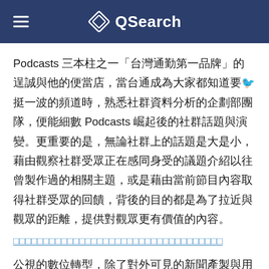QSearch
Podcasts 三本柱之一「台灣通勤第一品牌」的逞誠與他的便當店，當台通成為大家都知道要🐦挺一波的頻道時，熟悉社群資料分析的企劃部團隊，便能細數 Podcasts 崛起後的社群話題與演變。更重要的是，無論社群上的話題是大是小，藉由觀察社群受眾正在感同身受的議題介紹以往曾製作過的相關主題，或是藉由當前節目內容取得社群受眾的回饋，背後的目的都是為了拉近與觀眾的距離，提供對觀眾更有價值的內容。
（hyperlink text in blue）
公視的數位轉型，除了對外可見的新聞產製與用戶